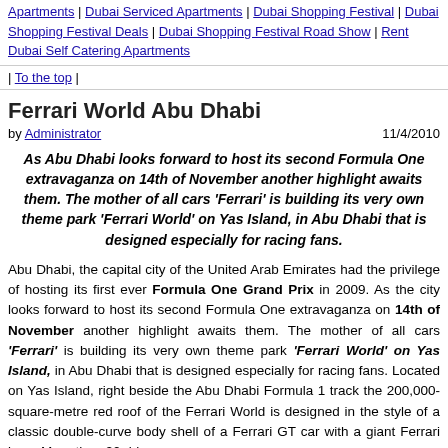Apartments | Dubai Serviced Apartments | Dubai Shopping Festival | Dubai Shopping Festival Deals | Dubai Shopping Festival Road Show | Rent Dubai Self Catering Apartments
| To the top |
Ferrari World Abu Dhabi
by Administrator    11/4/2010
As Abu Dhabi looks forward to host its second Formula One extravaganza on 14th of November another highlight awaits them. The mother of all cars 'Ferrari' is building its very own theme park 'Ferrari World' on Yas Island, in Abu Dhabi that is designed especially for racing fans.
Abu Dhabi, the capital city of the United Arab Emirates had the privilege of hosting its first ever Formula One Grand Prix in 2009. As the city looks forward to host its second Formula One extravaganza on 14th of November another highlight awaits them. The mother of all cars 'Ferrari' is building its very own theme park 'Ferrari World' on Yas Island, in Abu Dhabi that is designed especially for racing fans. Located on Yas Island, right beside the Abu Dhabi Formula 1 track the 200,000-square-metre red roof of the Ferrari World is designed in the style of a classic double-curve body shell of a Ferrari GT car with a giant Ferrari logo. More than 20 rides